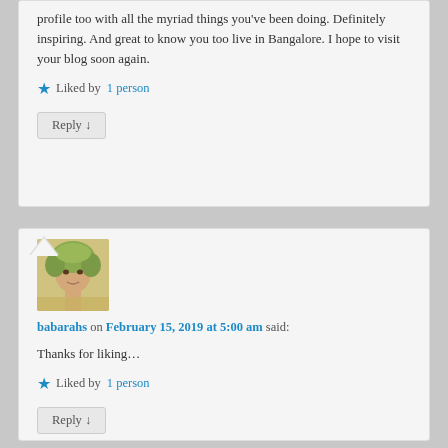profile too with all the myriad things you've been doing. Definitely inspiring. And great to know you too live in Bangalore. I hope to visit your blog soon again.
★ Liked by 1 person
Reply ↓
[Figure (photo): Avatar photo of babarahs, a person with curly blonde/green hair]
babarahs on February 15, 2019 at 5:00 am said:
Thanks for liking…
★ Liked by 1 person
Reply ↓